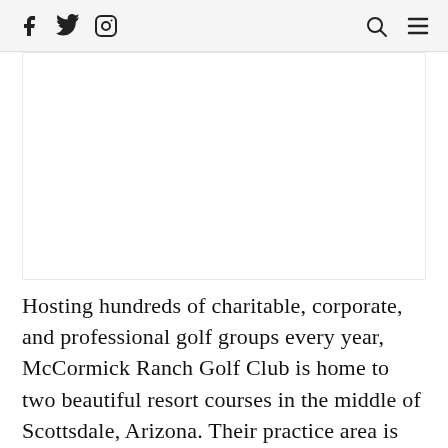[Facebook] [Twitter] [Instagram] [Search] [Menu]
[Figure (photo): Image placeholder area — golf course or related photo]
Hosting hundreds of charitable, corporate, and professional golf groups every year, McCormick Ranch Golf Club is home to two beautiful resort courses in the middle of Scottsdale, Arizona. Their practice area is also nothing to scoff at. With one of the Southwest's largest putting greens, a massive driving range, and a bunkered chipping green